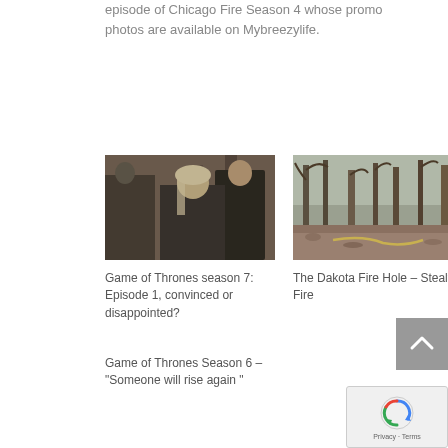episode of Chicago Fire Season 4 whose promo photos are available on Mybreezylife.
[Figure (photo): Scene from Game of Thrones showing a blonde woman in dark medieval costume with other figures in background]
Game of Thrones season 7: Episode 1, convinced or disappointed?
[Figure (photo): Outdoor woodland scene with bare trees and rope or stick on leaf-covered ground]
The Dakota Fire Hole – Stealth Fire
Game of Thrones Season 6 – "Someone will rise again "